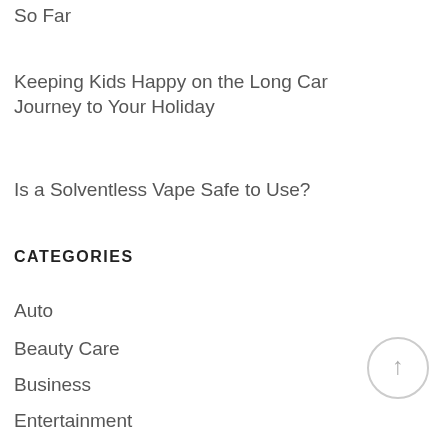So Far
Keeping Kids Happy on the Long Car Journey to Your Holiday
Is a Solventless Vape Safe to Use?
CATEGORIES
Auto
Beauty Care
Business
Entertainment
Furniture
Health and Fitness